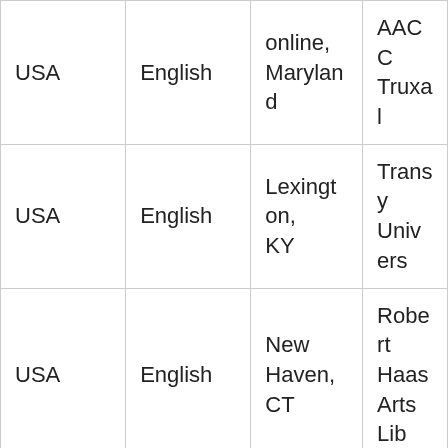| Country | Language | Location | Institution |
| --- | --- | --- | --- |
| USA | English | online, Maryland | AACC Truxal |
| USA | English | Lexington, KY | Transy Univers… |
| USA | English | New Haven, CT | Robert Haas Arts Lib… |
| USA | English | South Orange, NJ | Seton Univers… |
| USA | English | San Francisco, CA | Univers… San Francis… |
|  |  | online | School Art Ins… |